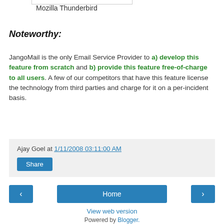Mozilla Thunderbird
Noteworthy:
JangoMail is the only Email Service Provider to a) develop this feature from scratch and b) provide this feature free-of-charge to all users. A few of our competitors that have this feature license the technology from third parties and charge for it on a per-incident basis.
Ajay Goel at 1/11/2008 03:11:00 AM
Share
Home
View web version
Powered by Blogger.